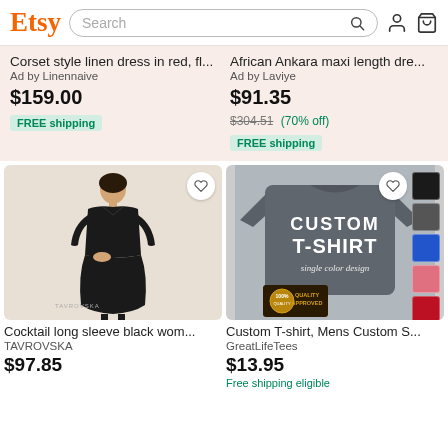[Figure (screenshot): Etsy website header with orange Etsy logo, search bar, user icon, and cart icon]
Corset style linen dress in red, fl...
Ad by Linennaive
$159.00
FREE shipping
African Ankara maxi length dre...
Ad by Laviye
$91.35
$304.51 (70% off)
FREE shipping
[Figure (photo): Woman in black cocktail long sleeve dress standing against beige background, TAVROVSKA branding]
[Figure (photo): Man wearing grey custom t-shirt with CUSTOM T-SHIRT single color design text, color swatches on right, Quality Approved badge]
Cocktail long sleeve black wom...
TAVROVSKA
$97.85
Custom T-shirt, Mens Custom S...
GreatLifeTees
$13.95
Free shipping eligible